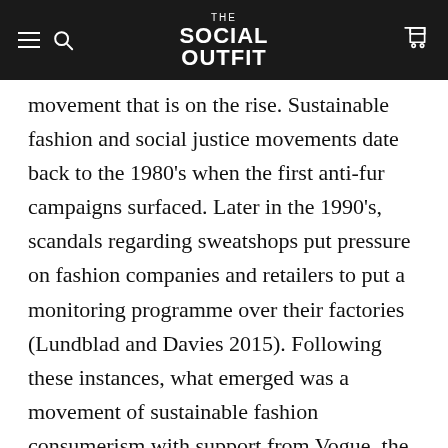THE SOCIAL OUTFIT
movement that is on the rise. Sustainable fashion and social justice movements date back to the 1980’s when the first anti-fur campaigns surfaced. Later in the 1990’s, scandals regarding sweatshops put pressure on fashion companies and retailers to put a monitoring programme over their factories (Lundblad and Davies 2015). Following these instances, what emerged was a movement of sustainable fashion consumerism with support from Vogue, the American fashion and lifestyle magazine (Lundblad and Davies 2015). A